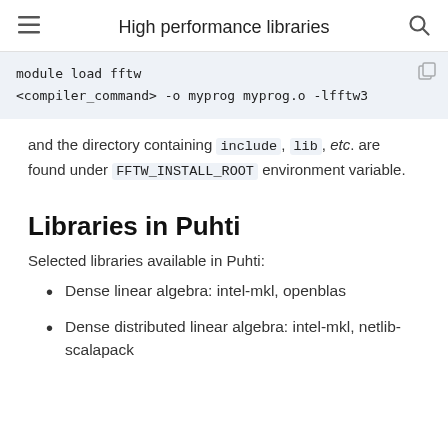High performance libraries
module load fftw
<compiler_command> -o myprog myprog.o -lfftw3
and the directory containing include, lib, etc. are found under FFTW_INSTALL_ROOT environment variable.
Libraries in Puhti
Selected libraries available in Puhti:
Dense linear algebra: intel-mkl, openblas
Dense distributed linear algebra: intel-mkl, netlib-scalapack